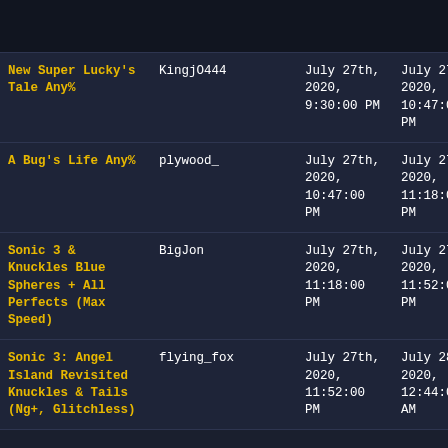| Game | Runner | Start Time | End Time |  |
| --- | --- | --- | --- | --- |
| New Super Lucky's Tale Any% | KingjO444 | July 27th, 2020, 9:30:00 PM | July 27th, 2020, 10:47:00 PM | No |
| A Bug's Life Any% | plywood_ | July 27th, 2020, 10:47:00 PM | July 27th, 2020, 11:18:00 PM | No |
| Sonic 3 & Knuckles Blue Spheres + All Perfects (Max Speed) | BigJon | July 27th, 2020, 11:18:00 PM | July 27th, 2020, 11:52:00 PM | No |
| Sonic 3: Angel Island Revisited Knuckles & Tails (Ng+, Glitchless) | flying_fox | July 27th, 2020, 11:52:00 PM | July 28th, 2020, 12:44:00 AM | No |